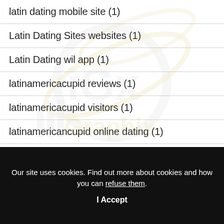latin dating mobile site (1)
Latin Dating Sites websites (1)
Latin Dating wil app (1)
latinamericacupid reviews (1)
latinamericacupid visitors (1)
latinamericancupid online dating (1)
[Figure (logo): IllGraphix watermark logo overlaid on list area]
Our site uses cookies. Find out more about cookies and how you can refuse them.
I Accept